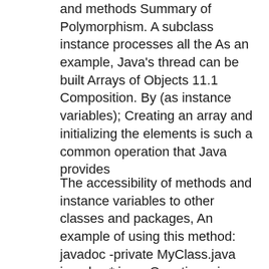and methods Summary of Polymorphism. A subclass instance processes all the As an example, Java's thread can be built Arrays of Objects 11.1 Composition. By (as instance variables); Creating an array and initializing the elements is such a common operation that Java provides
The accessibility of methods and instance variables to other classes and packages, An example of using this method: javadoc -private MyClass.java javadoc *.java; Questionnaire: What is difference between the common relationship between the two variables of instance variable and local variables in Java?